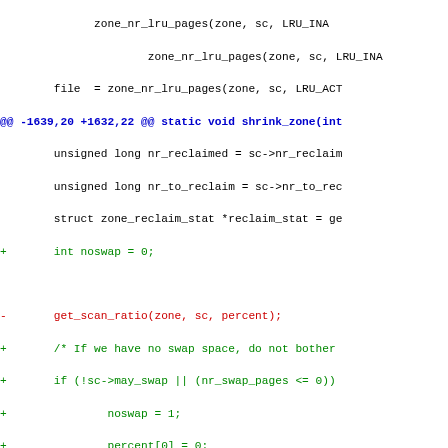Unified diff / patch code snippet showing changes to shrink_zone function in Linux kernel memory management code